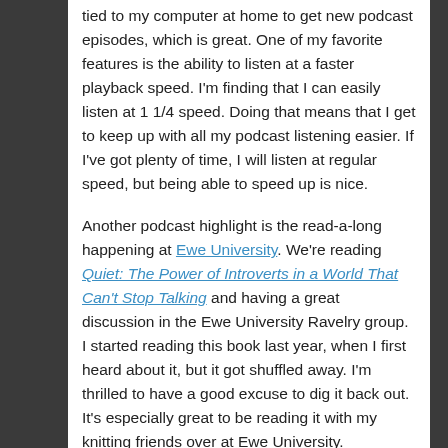tied to my computer at home to get new podcast episodes, which is great. One of my favorite features is the ability to listen at a faster playback speed. I'm finding that I can easily listen at 1 1/4 speed. Doing that means that I get to keep up with all my podcast listening easier. If I've got plenty of time, I will listen at regular speed, but being able to speed up is nice.
Another podcast highlight is the read-a-long happening at Ewe University. We're reading Quiet: The Power of Introverts in a World That Can't Stop Talking and having a great discussion in the Ewe University Ravelry group. I started reading this book last year, when I first heard about it, but it got shuffled away. I'm thrilled to have a good excuse to dig it back out. It's especially great to be reading it with my knitting friends over at Ewe University.
Yarn Thing with Marly Bird continues to grow on me as a favorite, too. I'm not just saying that because I won another of the call-in contests, either. 😉 I love how Marly talks to so many people in the fiber...